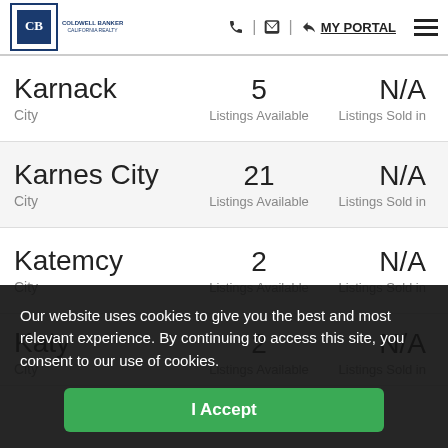Coldwell Banker header with logo, phone, email, MY PORTAL, and menu
| City | Listings Available | Listings Sold in |
| --- | --- | --- |
| Karnack / City | 5 | N/A |
| Karnes City / City | 21 | N/A |
| Katemcy / City | 2 | N/A |
| Katy / City | 2 | N/A |
Our website uses cookies to give you the best and most relevant experience. By continuing to access this site, you consent to our use of cookies.
I Accept